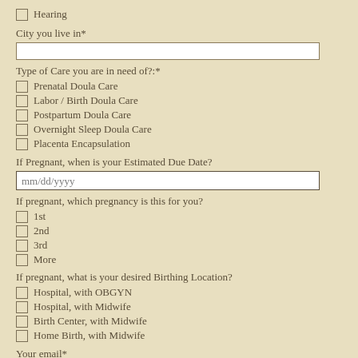Hearing
City you live in*
Type of Care you are in need of?:*
Prenatal Doula Care
Labor / Birth Doula Care
Postpartum Doula Care
Overnight Sleep Doula Care
Placenta Encapsulation
If Pregnant, when is your Estimated Due Date?
If pregnant, which pregnancy is this for you?
1st
2nd
3rd
More
If pregnant, what is your desired Birthing Location?
Hospital, with OBGYN
Hospital, with Midwife
Birth Center, with Midwife
Home Birth, with Midwife
Your email*